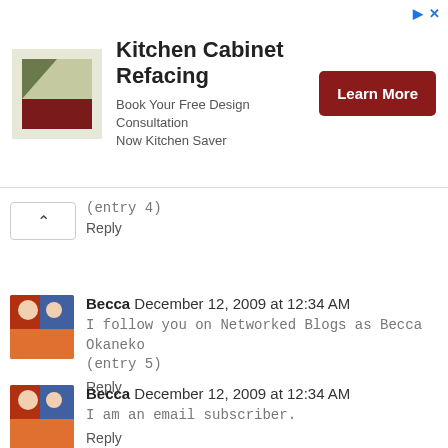[Figure (infographic): Kitchen Cabinet Refacing advertisement banner with logo, text 'Book Your Free Design Consultation Now Kitchen Saver', and a red 'Learn More' button]
(entry 4)
Reply
Becca December 12, 2009 at 12:34 AM
I follow you on Networked Blogs as Becca Okaneko (entry 5)
Reply
Becca December 12, 2009 at 12:34 AM
I am an email subscriber.
Reply